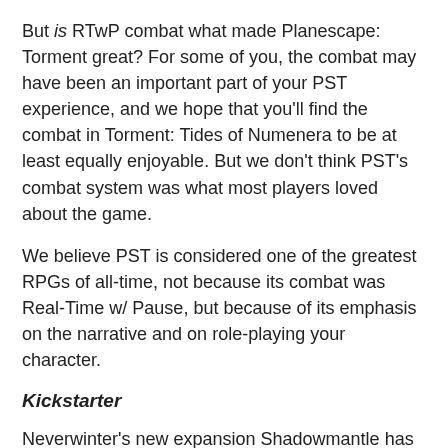But is RTwP combat what made Planescape: Torment great? For some of you, the combat may have been an important part of your PST experience, and we hope that you'll find the combat in Torment: Tides of Numenera to be at least equally enjoyable. But we don't think PST's combat system was what most players loved about the game.
We believe PST is considered one of the greatest RPGs of all-time, not because its combat was Real-Time w/ Pause, but because of its emphasis on the narrative and on role-playing your character.
Kickstarter
Neverwinter's new expansion Shadowmantle has gone live.  this includes a new hunter/ranger character.  You can learn to from the content and like me being will